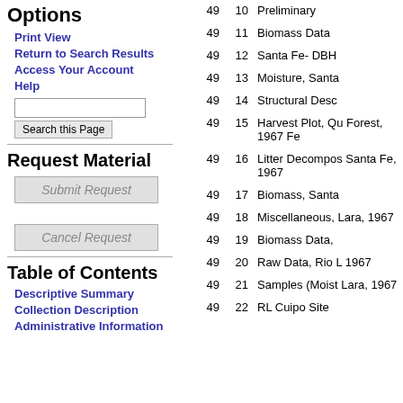Options
Print View
Return to Search Results
Access Your Account
Help
Request Material
Table of Contents
Descriptive Summary
Collection Description
Administrative Information
| Box | Folder | Description |
| --- | --- | --- |
| 49 | 10 | Preliminary |
| 49 | 11 | Biomass Data |
| 49 | 12 | Santa Fe- DBH |
| 49 | 13 | Moisture, Santa |
| 49 | 14 | Structural Desc |
| 49 | 15 | Harvest Plot, Qu Forest, 1967 Fe |
| 49 | 16 | Litter Decompos Santa Fe, 1967 |
| 49 | 17 | Biomass, Santa |
| 49 | 18 | Miscellaneous, Lara, 1967 |
| 49 | 19 | Biomass Data, |
| 49 | 20 | Raw Data, Rio L 1967 |
| 49 | 21 | Samples (Moist Lara, 1967 |
| 49 | 22 | RL Cuipo Site |